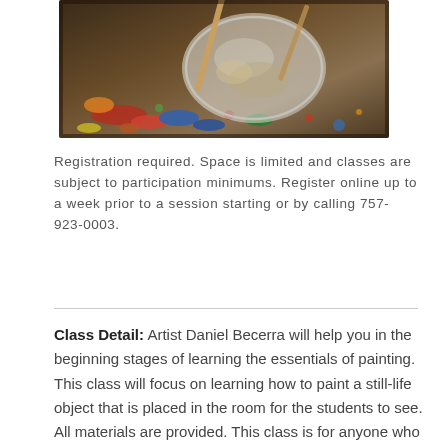[Figure (photo): Close-up photo of an artist's paint palette with brushes and colorful paints, showing a paint-covered surface with a glass palette dish]
Registration required. Space is limited and classes are subject to participation minimums. Register online up to a week prior to a session starting or by calling 757-923-0003.
Class Detail: Artist Daniel Becerra will help you in the beginning stages of learning the essentials of painting. This class will focus on learning how to paint a still-life object that is placed in the room for the students to see. All materials are provided. This class is for anyone who wants to try